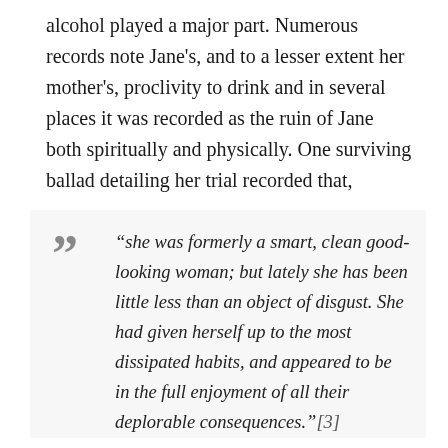alcohol played a major part. Numerous records note Jane's, and to a lesser extent her mother's, proclivity to drink and in several places it was recorded as the ruin of Jane both spiritually and physically. One surviving ballad detailing her trial recorded that,
“she was formerly a smart, clean good-looking woman; but lately she has been little less than an object of disgust. She had given herself up to the most dissipated habits, and appeared to be in the full enjoyment of all their deplorable consequences.”[3]